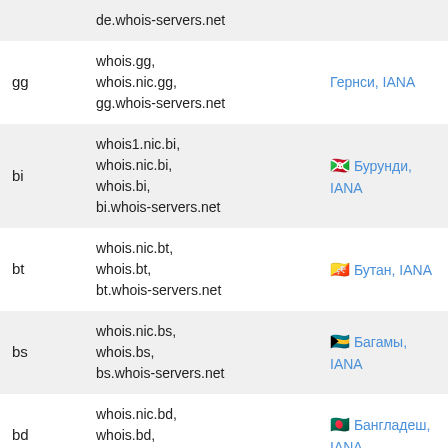| TLD | Whois servers | Info |
| --- | --- | --- |
|  | de.whois-servers.net |  |
| gg | whois.gg, whois.nic.gg, gg.whois-servers.net | Гернси, IANA |
| bi | whois1.nic.bi, whois.nic.bi, whois.bi, bi.whois-servers.net | Бурунди, IANA |
| bt | whois.nic.bt, whois.bt, bt.whois-servers.net | Бутан, IANA |
| bs | whois.nic.bs, whois.bs, bs.whois-servers.net | Багамы, IANA |
| bd | whois.nic.bd, whois.bd, bd.whois-servers.net | Бангладеш, IANA |
| bb | whois.nic.bb, whois.bb | Барбадос, |